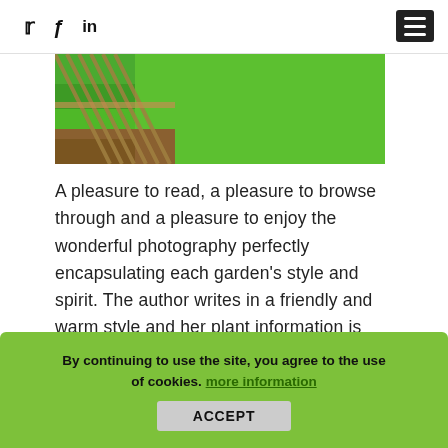Social icons: Twitter, Facebook, LinkedIn; Hamburger menu button
[Figure (photo): Partial photo of a garden scene showing a diagonal fence/rake and green grass lawn]
A pleasure to read, a pleasure to browse through and a pleasure to enjoy the wonderful photography perfectly encapsulating each garden's style and spirit. The author writes in a friendly and warm style and her plant information is spot on.
By continuing to use the site, you agree to the use of cookies. more information ACCEPT
the 22 gardens are open to the public at some time during the